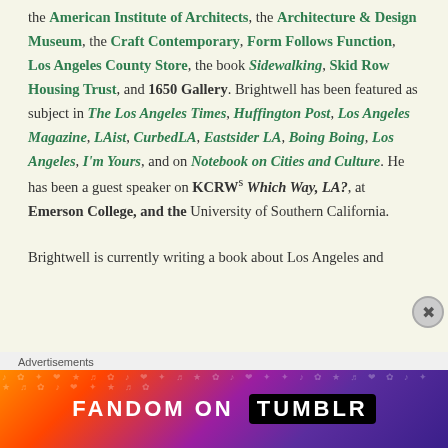the American Institute of Architects, the Architecture & Design Museum, the Craft Contemporary, Form Follows Function, Los Angeles County Store, the book Sidewalking, Skid Row Housing Trust, and 1650 Gallery. Brightwell has been featured as subject in The Los Angeles Times, Huffington Post, Los Angeles Magazine, LAist, CurbedLA, Eastsider LA, Boing Boing, Los Angeles, I'm Yours, and on Notebook on Cities and Culture. He has been a guest speaker on KCRW's Which Way, LA?, at Emerson College, and the University of Southern California.
Brightwell is currently writing a book about Los Angeles and
Advertisements
[Figure (other): Fandom on Tumblr advertisement banner with colorful gradient background]